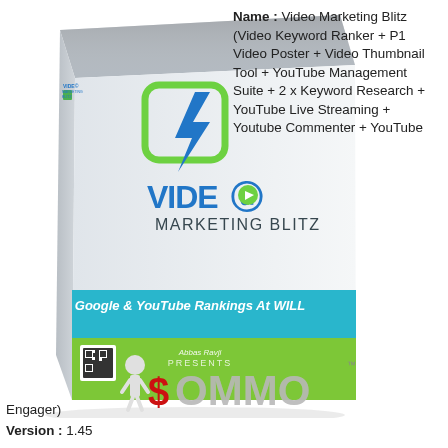[Figure (illustration): Product box for Video Marketing Blitz software showing a white 3D box with green lightning bolt logo and blue/green banner reading 'Google & YouTube Rankings At WILL'. Below shows '$OMMO' branding with a small figure character.]
Name : Video Marketing Blitz (Video Keyword Ranker + P1 Video Poster + Video Thumbnail Tool + YouTube Management Suite + 2 x Keyword Research + YouTube Live Streaming + Youtube Commenter + YouTube Engager)
Version : 1.45